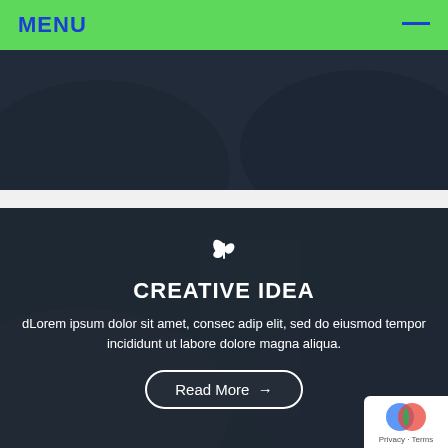MENU
[Figure (photo): Dark background image of business people with a 'Read More' button overlay]
[Figure (photo): Dark business meeting photo with a leaf icon, 'CREATIVE IDEA' heading, lorem ipsum text, and a 'Read More' button overlay]
CREATIVE IDEA
dLorem ipsum dolor sit amet, consec adip elit, sed do eiusmod tempor incididunt ut labore dolore magna aliqua.